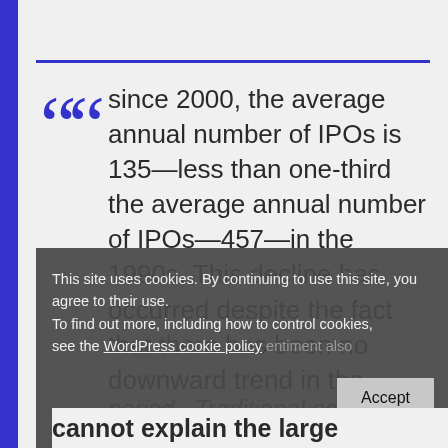since 2000, the average annual number of IPOs is 135—less than one-third the average annual number of IPOs—457—in the 1990s. This decline has occurred despite the fact that there has been no downward trend in the creation of new companies over the same period. Traditional economic ... companies' demand for capital and ... sentiment ... also cannot explain the large
This site uses cookies. By continuing to use this site, you agree to their use. To find out more, including how to control cookies, see the WordPress cookie policy